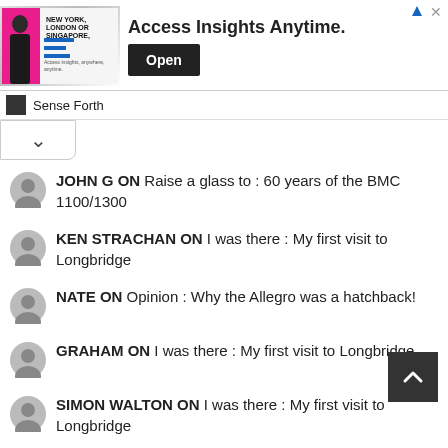[Figure (screenshot): Advertisement banner: image of man with text NEW YORK, LONDON OR SINGAPORE, headline Access Insights Anytime., Open button, Sense Forth branding]
JOHN G ON Raise a glass to : 60 years of the BMC 1100/1300
KEN STRACHAN ON I was there : My first visit to Longbridge
NATE ON Opinion : Why the Allegro was a hatchback!
GRAHAM ON I was there : My first visit to Longbridge
SIMON WALTON ON I was there : My first visit to Longbridge